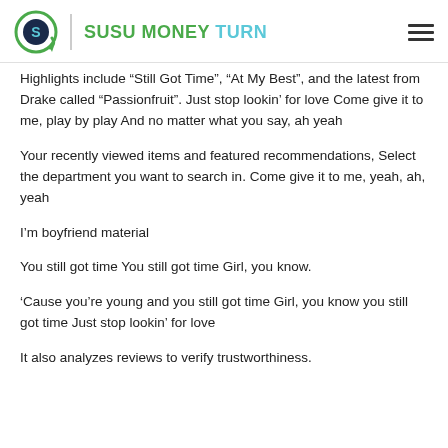SUSU MONEY TURN
Highlights include “Still Got Time”, “At My Best”, and the latest from Drake called “Passionfruit”. Just stop lookin’ for love Come give it to me, play by play And no matter what you say, ah yeah
Your recently viewed items and featured recommendations, Select the department you want to search in. Come give it to me, yeah, ah, yeah
I’m boyfriend material
You still got time You still got time Girl, you know.
‘Cause you’re young and you still got time Girl, you know you still got time Just stop lookin’ for love
It also analyzes reviews to verify trustworthiness.